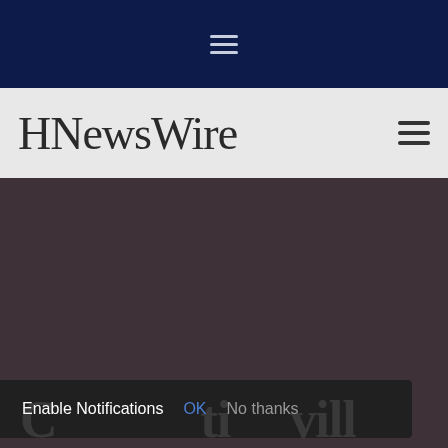[Figure (other): Dark navy top navigation bar with a white hamburger menu icon centered]
[Figure (logo): HNewsWire logo in cursive/handwritten script font on light gray navigation bar, with dark hamburger menu icon on the right]
[Figure (other): Dark brownish-gray hero section background with partial white serif headline text visible at bottom]
Enable Notifications  OK  No thanks